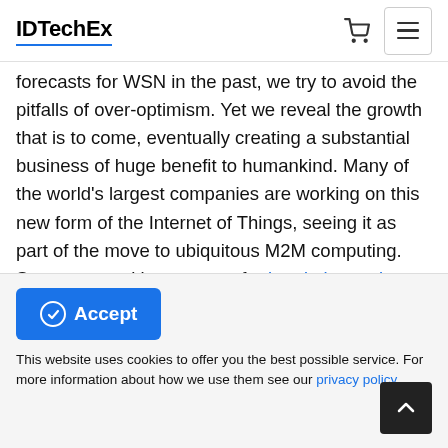IDTechEx
forecasts for WSN in the past, we try to avoid the pitfalls of over-optimism. Yet we reveal the growth that is to come, eventually creating a substantial business of huge benefit to humankind. Many of the world's largest companies are working on this new form of the Internet of Things, seeing it as part of the move to ubiquitous M2M computing. Some are working on use of printed electronics, including printed sensors for such purposes and some on energy harvesting tolerant electronics (all those voltage spikes and unpredictable intermittency). Yet others are reducing the power required by node logic, memory and sensing. Progress is quite rapid because all these things are needed more generally beyond WSN, de-risking the investments
Accept
This website uses cookies to offer you the best possible service. For more information about how we use them see our privacy policy.